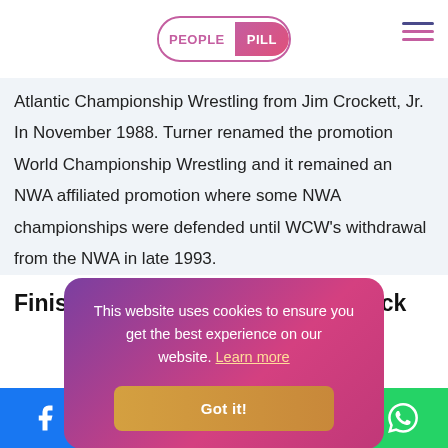PEOPLE PILL
Atlantic Championship Wrestling from Jim Crockett, Jr. In November 1988. Turner renamed the promotion World Championship Wrestling and it remained an NWA affiliated promotion where some NWA championships were defended until WCW's withdrawal from the NWA in late 1993.
Finishing Move: Myawashi Leg Kick
[Figure (other): Cookie consent banner with gradient purple-pink background reading 'This website uses cookies to ensure you get the best experience on our website. Learn more' and a gold 'Got it!' button]
Social share buttons: Facebook, Twitter, Reddit, LinkedIn, WhatsApp